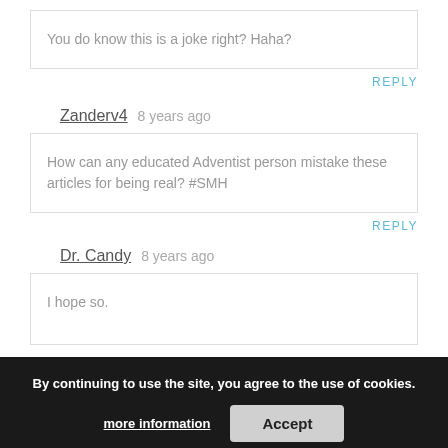You do know this is a joke right? Haha?
REPLY
Zanderv4  8 years ago
How can any educated Adventist person mistake these articles for being real? #SMH
REPLY
Dr. Candy  8 years ago
I hope so.
By continuing to use the site, you agree to the use of cookies.
more information
Accept